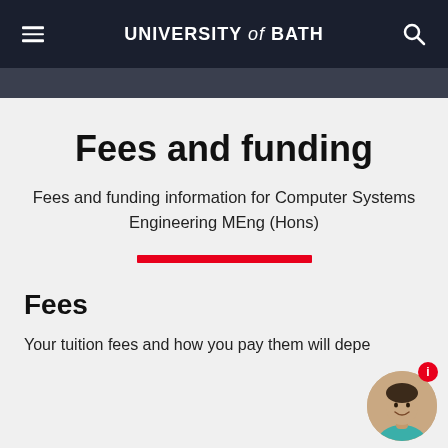UNIVERSITY of BATH
Fees and funding
Fees and funding information for Computer Systems Engineering MEng (Hons)
Fees
Your tuition fees and how you pay them will depe...